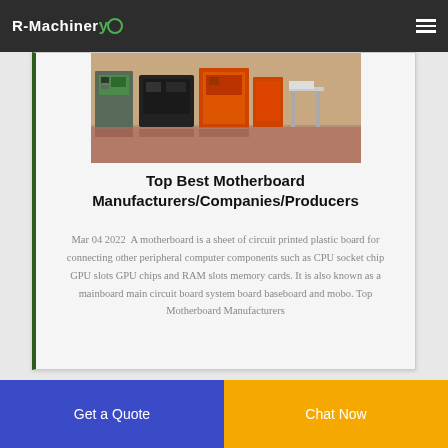R-Machinery
[Figure (photo): Factory floor photo showing industrial machinery with orange and green machines, conveyor equipment, in a manufacturing facility]
Top Best Motherboard Manufacturers/Companies/Producers
Mar 04 2022  A motherboard is a sheet of circuit printed plastic board for connecting other peripheral computer components such as CPU socket chip GPU slots GPU chips and RAM slots memory cards. It is also known as a mainboard main circuit board system board baseboard and mobo. Top Motherboard Manufacturers